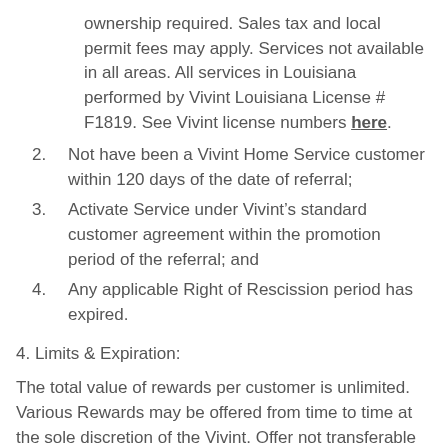ownership required. Sales tax and local permit fees may apply. Services not available in all areas. All services in Louisiana performed by Vivint Louisiana License # F1819. See Vivint license numbers here.
2. Not have been a Vivint Home Service customer within 120 days of the date of referral;
3. Activate Service under Vivint’s standard customer agreement within the promotion period of the referral; and
4. Any applicable Right of Rescission period has expired.
4. Limits & Expiration:
The total value of rewards per customer is unlimited. Various Rewards may be offered from time to time at the sole discretion of the Vivint. Offer not transferable